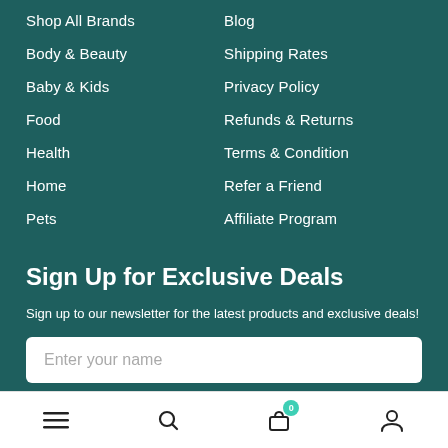Shop All Brands
Body & Beauty
Baby & Kids
Food
Health
Home
Pets
Blog
Shipping Rates
Privacy Policy
Refunds & Returns
Terms & Condition
Refer a Friend
Affiliate Program
Sign Up for Exclusive Deals
Sign up to our newsletter for the latest products and exclusive deals!
Enter your name
Navigation bar with menu, search, cart (0), and account icons